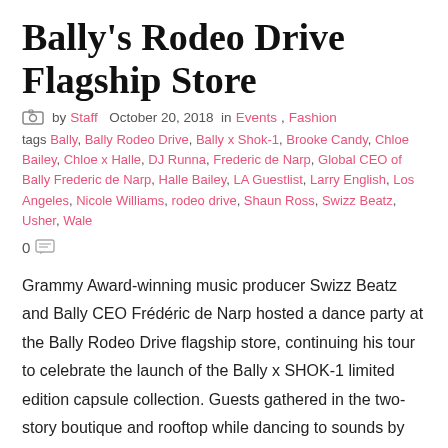Bally's Rodeo Drive Flagship Store
by Staff  October 20, 2018  in Events, Fashion
tags Bally, Bally Rodeo Drive, Bally x Shok-1, Brooke Candy, Chloe Bailey, Chloe x Halle, DJ Runna, Frederic de Narp, Global CEO of Bally Frederic de Narp, Halle Bailey, LA Guestlist, Larry English, Los Angeles, Nicole Williams, rodeo drive, Shaun Ross, Swizz Beatz, Usher, Wale
0
Grammy Award-winning music producer Swizz Beatz and Bally CEO Frédéric de Narp hosted a dance party at the Bally Rodeo Drive flagship store, continuing his tour to celebrate the launch of the Bally x SHOK-1 limited edition capsule collection. Guests gathered in the two-story boutique and rooftop while dancing to sounds by DJ Runna and